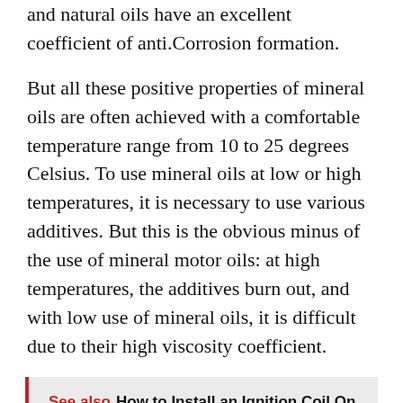and natural oils have an excellent coefficient of anti.Corrosion formation.
But all these positive properties of mineral oils are often achieved with a comfortable temperature range from 10 to 25 degrees Celsius. To use mineral oils at low or high temperatures, it is necessary to use various additives. But this is the obvious minus of the use of mineral motor oils: at high temperatures, the additives burn out, and with low use of mineral oils, it is difficult due to their high viscosity coefficient.
See also  How to Install an Ignition Coil On a Stihl Trimmer